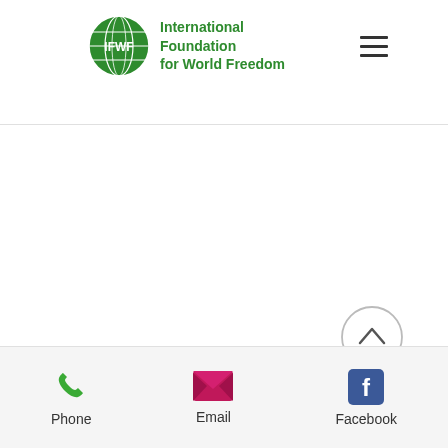International Foundation for World Freedom
[Figure (logo): IFWF globe logo with green circular emblem and text: International Foundation for World Freedom]
[Figure (other): Hamburger menu icon with three horizontal lines]
[Figure (other): Scroll-to-top button: circle with upward chevron arrow]
Phone  Email  Facebook